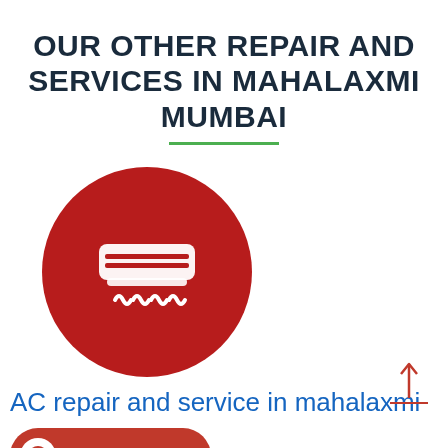OUR OTHER REPAIR AND SERVICES IN MAHALAXMI MUMBAI
[Figure (illustration): Dark red circle with white AC unit icon and heat waves below it]
AC repair and service in mahalaxmi
[Figure (infographic): Red call-to-action button with phone icon and text CALL US NOW]
We are the best onsite/doorstep service provider at your